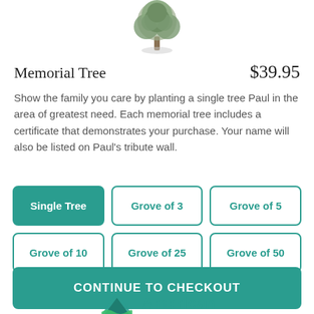[Figure (illustration): Illustration of a tree with trunk and roots at the top of the page]
Memorial Tree
$39.95
Show the family you care by planting a single tree Paul in the area of greatest need. Each memorial tree includes a certificate that demonstrates your purchase. Your name will also be listed on Paul's tribute wall.
Single Tree
Grove of 3
Grove of 5
Grove of 10
Grove of 25
Grove of 50
CONTINUE TO CHECKOUT
[Figure (logo): American Forests logo with tree icon and text 'American']